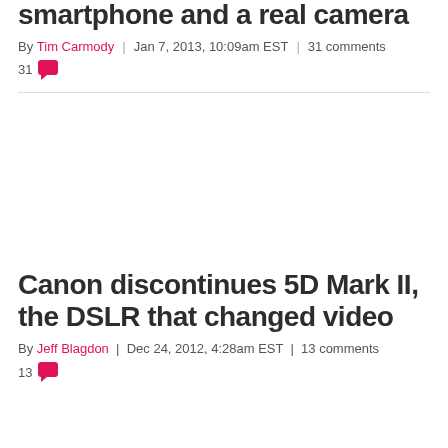smartphone and a real camera
By Tim Carmody | Jan 7, 2013, 10:09am EST | 31 comments
31
[Figure (photo): Article image placeholder area (white/blank)]
Canon discontinues 5D Mark II, the DSLR that changed video
By Jeff Blagdon | Dec 24, 2012, 4:28am EST | 13 comments
13